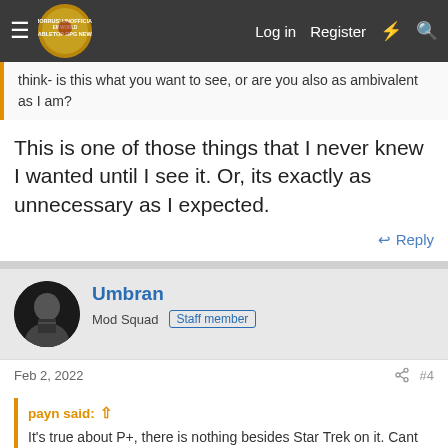Morrus' Unofficial Tabletop RPG News — Log in | Register
think- is this what you want to see, or are you also as ambivalent as I am?
This is one of those things that I never knew I wanted until I see it. Or, its exactly as unnecessary as I expected.
Reply
Umbran
Mod Squad  Staff member
Feb 2, 2022
#4
payn said:
It's true about P+, there is nothing besides Star Trek on it. Cant justify that price.